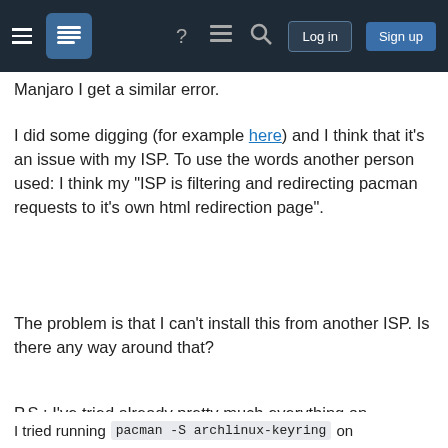Stack Exchange navigation bar with hamburger menu, logo, help, chat, search, Log in and Sign up buttons
Manjaro I get a similar error.
I did some digging (for example here) and I think that it's an issue with my ISP. To use the words another person used: I think my "ISP is filtering and redirecting pacman requests to it's own html redirection page".
The problem is that I can't install this from another ISP. Is there any way around that?
P.S.: I've tried already pretty much everything on
Your privacy
By clicking "Accept all cookies", you agree Stack Exchange can store cookies on your device and disclose information in accordance with our Cookie Policy.
Accept all cookies   Customize settings
I tried running pacman -S archlinux-keyring on